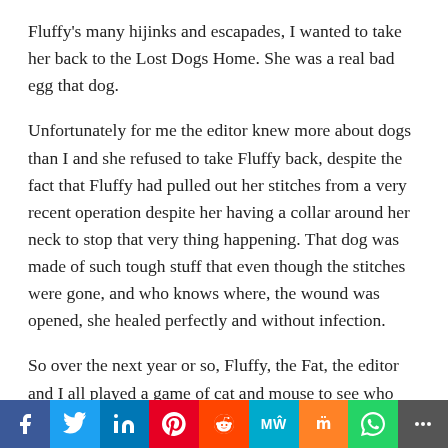Fluffy's many hijinks and escapades, I wanted to take her back to the Lost Dogs Home. She was a real bad egg that dog.
Unfortunately for me the editor knew more about dogs than I and she refused to take Fluffy back, despite the fact that Fluffy had pulled out her stitches from a very recent operation despite her having a collar around her neck to stop that very thing happening. That dog was made of such tough stuff that even though the stitches were gone, and who knows where, the wound was opened, she healed perfectly and without infection.
So over the next year or so, Fluffy, the Fat, the editor and I all played a game of cat and mouse to see who would break first. That experience has left me with
[Figure (infographic): Social media sharing bar with icons: Facebook (blue), Twitter (light blue), LinkedIn (dark blue), Pinterest (red), Reddit (orange-red), MW (cyan), Mix (orange), WhatsApp (green), More (gray)]